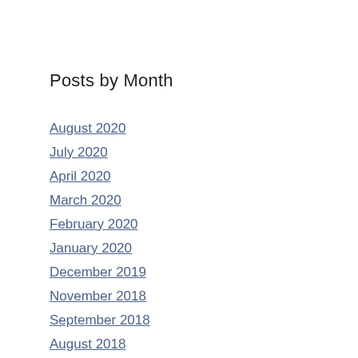Posts by Month
August 2020
July 2020
April 2020
March 2020
February 2020
January 2020
December 2019
November 2018
September 2018
August 2018